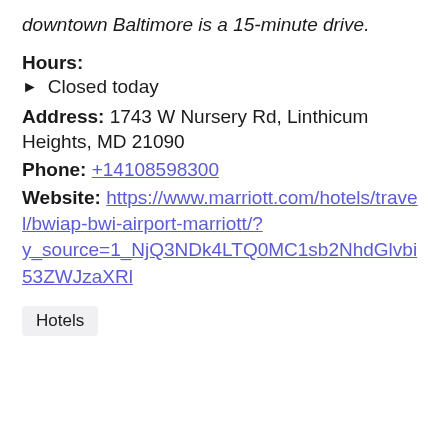downtown Baltimore is a 15-minute drive.
Hours:
Closed today
Address: 1743 W Nursery Rd, Linthicum Heights, MD 21090
Phone: +14108598300
Website: https://www.marriott.com/hotels/travel/bwiap-bwi-airport-marriott/?y_source=1_NjQ3NDk4LTQ0MC1sb2NhdGlvbi53ZWJzaXRl
Hotels